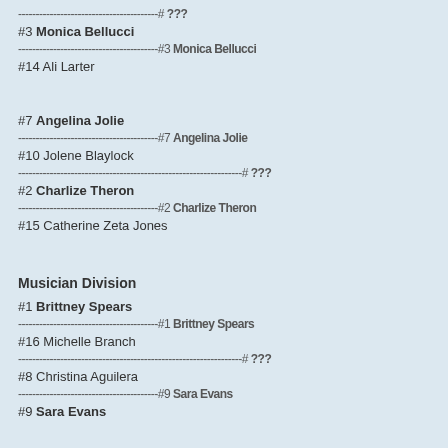----------------------------------------# ???
#3 Monica Bellucci
----------------------------------------#3 Monica Bellucci
#14 Ali Larter
#7 Angelina Jolie
----------------------------------------#7 Angelina Jolie
#10 Jolene Blaylock
----------------------------------------------------------------# ???
#2 Charlize Theron
----------------------------------------#2 Charlize Theron
#15 Catherine Zeta Jones
Musician Division
#1 Brittney Spears
----------------------------------------#1 Brittney Spears
#16 Michelle Branch
----------------------------------------------------------------# ???
#8 Christina Aguilera
----------------------------------------#9 Sara Evans
#9 Sara Evans